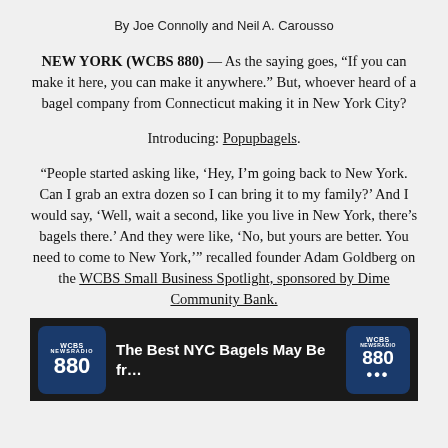By Joe Connolly and Neil A. Carousso
NEW YORK (WCBS 880) — As the saying goes, “If you can make it here, you can make it anywhere.” But, whoever heard of a bagel company from Connecticut making it in New York City?
Introducing: Popupbagels.
“People started asking like, ‘Hey, I’m going back to New York. Can I grab an extra dozen so I can bring it to my family?’ And I would say, ‘Well, wait a second, like you live in New York, there’s bagels there.’ And they were like, ‘No, but yours are better. You need to come to New York,’” recalled founder Adam Goldberg on the WCBS Small Business Spotlight, sponsored by Dime Community Bank.
[Figure (screenshot): Video thumbnail showing WCBS 880 logo on left, title text 'The Best NYC Bagels May Be fr...' in center, and WCBS 880 logo on right, with people visible at bottom]